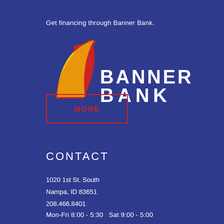Get financing through Banner Bank.
[Figure (logo): Banner Bank logo with red and yellow swoosh graphic and white 'BANNER BANK' text on dark blue background]
MORE
CONTACT
1020 1st St. South
Nampa, ID 83651
208.466.8401
Mon-Fri 8:00 - 5:30  Sat 9:00 - 5:00